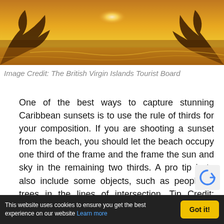[Figure (photo): Sunset photo with silhouetted trees and golden light reflecting on water, by The British Virgin Islands Tourist Board]
Image Credit: The British Virgin Islands Tourist Board
One of the best ways to capture stunning Caribbean sunsets is to use the rule of thirds for your composition. If you are shooting a sunset from the beach, you should let the beach occupy one third of the frame and the frame the sun and sky in the remaining two thirds. A pro tip is to also include some objects, such as people or trees in the lines of intersection. Tip Credit: Photography Axis
Caribbean Travel Guides
This website uses cookies to ensure you get the best experience on our website Learn more